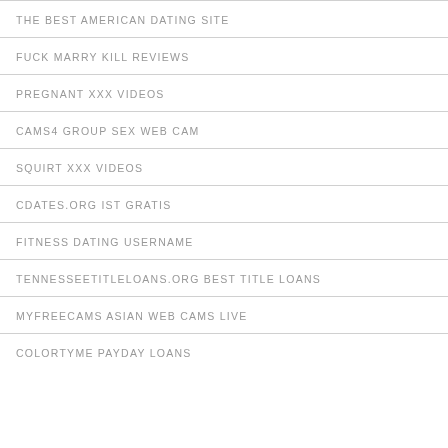THE BEST AMERICAN DATING SITE
FUCK MARRY KILL REVIEWS
PREGNANT XXX VIDEOS
CAMS4 GROUP SEX WEB CAM
SQUIRT XXX VIDEOS
CDATES.ORG IST GRATIS
FITNESS DATING USERNAME
TENNESSEETITLELOANS.ORG BEST TITLE LOANS
MYFREECAMS ASIAN WEB CAMS LIVE
COLORTYME PAYDAY LOANS